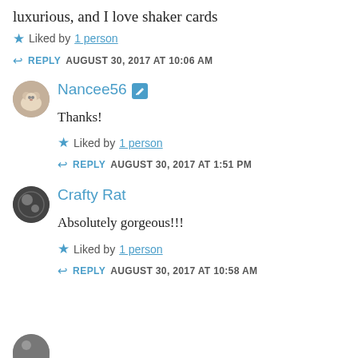luxurious, and I love shaker cards
Liked by 1 person
REPLY  AUGUST 30, 2017 AT 10:06 AM
Nancee56
Thanks!
Liked by 1 person
REPLY  AUGUST 30, 2017 AT 1:51 PM
Crafty Rat
Absolutely gorgeous!!!
Liked by 1 person
REPLY  AUGUST 30, 2017 AT 10:58 AM